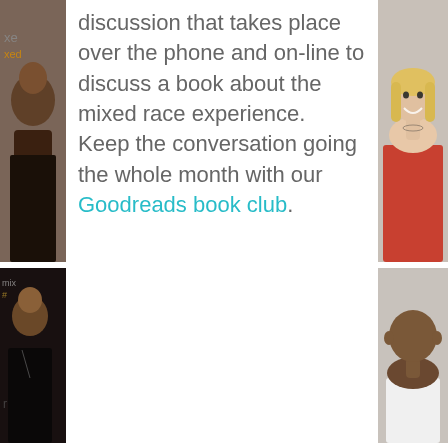[Figure (photo): Left column of portrait photos showing diverse individuals against event backdrop with 'xe' text visible]
[Figure (photo): Right column of portrait photos showing diverse individuals]
discussion that takes place over the phone and on-line to discuss a book about the mixed race experience.  Keep the conversation going the whole month with our Goodreads book club.